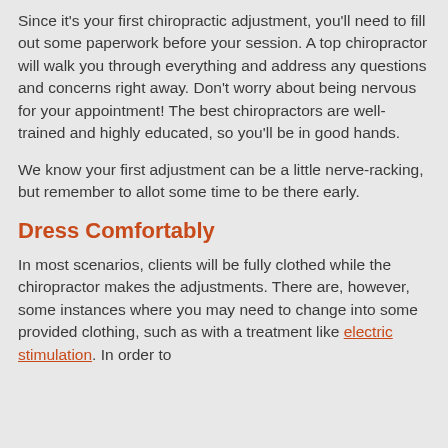Since it's your first chiropractic adjustment, you'll need to fill out some paperwork before your session. A top chiropractor will walk you through everything and address any questions and concerns right away. Don't worry about being nervous for your appointment! The best chiropractors are well-trained and highly educated, so you'll be in good hands.
We know your first adjustment can be a little nerve-racking, but remember to allot some time to be there early.
Dress Comfortably
In most scenarios, clients will be fully clothed while the chiropractor makes the adjustments. There are, however, some instances where you may need to change into some provided clothing, such as with a treatment like electric stimulation. In order to